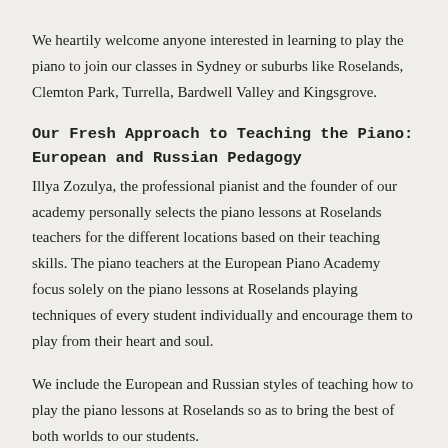We heartily welcome anyone interested in learning to play the piano to join our classes in Sydney or suburbs like Roselands, Clemton Park, Turrella, Bardwell Valley and Kingsgrove.
Our Fresh Approach to Teaching the Piano: European and Russian Pedagogy
Illya Zozulya, the professional pianist and the founder of our academy personally selects the piano lessons at Roselands teachers for the different locations based on their teaching skills. The piano teachers at the European Piano Academy focus solely on the piano lessons at Roselands playing techniques of every student individually and encourage them to play from their heart and soul.
We include the European and Russian styles of teaching how to play the piano lessons at Roselands so as to bring the best of both worlds to our students.